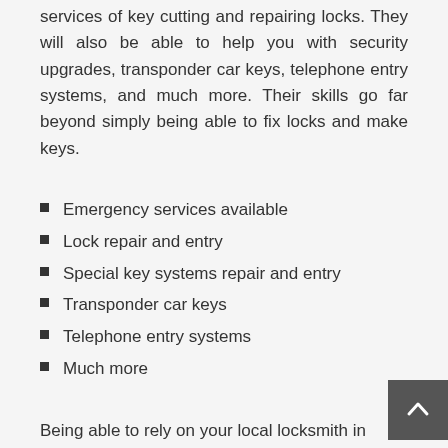services of key cutting and repairing locks. They will also be able to help you with security upgrades, transponder car keys, telephone entry systems, and much more. Their skills go far beyond simply being able to fix locks and make keys.
Emergency services available
Lock repair and entry
Special key systems repair and entry
Transponder car keys
Telephone entry systems
Much more
Being able to rely on your local locksmith in